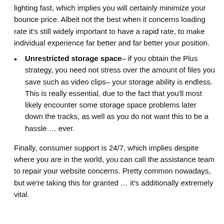lighting fast, which implies you will certainly minimize your bounce price. Albeit not the best when it concerns loading rate it's still widely important to have a rapid rate, to make individual experience far better and far better your position.
Unrestricted storage space– if you obtain the Plus strategy, you need not stress over the amount of files you save such as video clips– your storage ability is endless. This is really essential, due to the fact that you'll most likely encounter some storage space problems later down the tracks, as well as you do not want this to be a hassle … ever.
Finally, consumer support is 24/7, which implies despite where you are in the world, you can call the assistance team to repair your website concerns. Pretty common nowadays, but we're taking this for granted … it's additionally extremely vital.